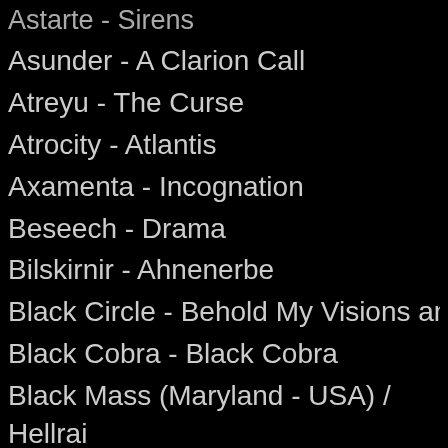Astarte - Sirens
Asunder - A Clarion Call
Atreyu - The Curse
Atrocity - Atlantis
Axamenta - Incognation
Beseech - Drama
Bilskirnir - Ahnenerbe
Black Circle - Behold My Visions and W...
Black Cobra - Black Cobra
Black Mass (Maryland - USA) / Hellrai... of Evil
Blind Myself - Worst Case Scenario